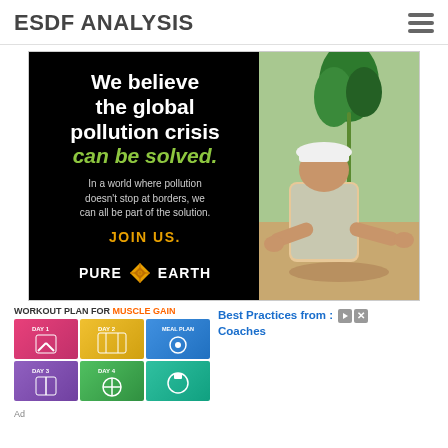ESDF ANALYSIS
[Figure (illustration): Pure Earth advertisement banner. Black background on left with white bold text: 'We believe the global pollution crisis can be solved.' (solved in green italic). Body text: 'In a world where pollution doesn't stop at borders, we can all be part of the solution.' Orange bold text: 'JOIN US.' Pure Earth logo at bottom. Right side shows photo of a man in white hard hat and vest planting a tree seedling.]
[Figure (illustration): Workout Plan for Muscle Gain advertisement showing colorful grid of workout plan images in pink, yellow, blue, purple, green, and teal panels.]
Best Practices from : Coaches
Ad